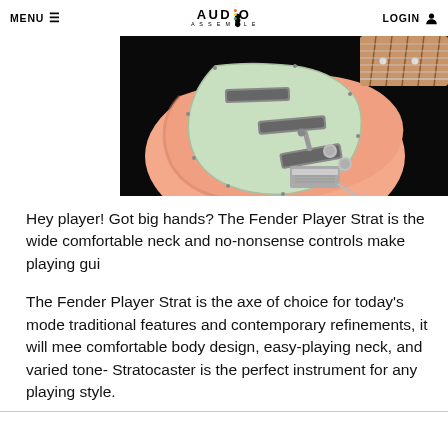MENU  AUDIO ASSEMBLE  LOGIN
[Figure (photo): Close-up photo of a Fender Player Stratocaster guitar body in shell pink color with mint green pickguard, showing pickups and controls, with a maple/pau ferro fretboard visible at the top right. Black background.]
Hey player! Got big hands? The Fender Player Strat is the wide comfortable neck and no-nonsense controls make playing gui
The Fender Player Strat is the axe of choice for today's mode traditional features and contemporary refinements, it will mee comfortable body design, easy-playing neck, and varied tone- Stratocaster is the perfect instrument for any playing style.